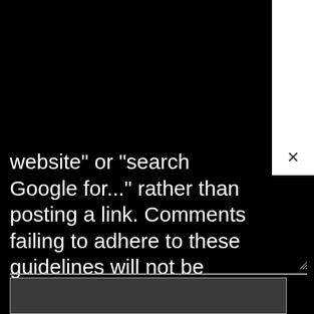website" or "search Google for..." rather than posting a link. Comments failing to adhere to these guidelines will not be published.
[Figure (screenshot): A dark gray textarea input box with a light gray border, with a resize handle in the bottom-right corner]
[Figure (screenshot): A dark gray input bar at the bottom of the screen with a light gray border, partially visible]